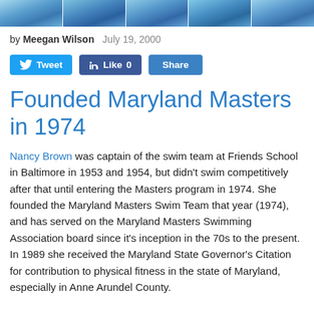[Figure (photo): Banner photo strip of swimmers at the top of the page]
by Meegan Wilson   July 19, 2000
[Figure (infographic): Social sharing buttons: Tweet, Like 0, Share]
Founded Maryland Masters in 1974
Nancy Brown was captain of the swim team at Friends School in Baltimore in 1953 and 1954, but didn't swim competitively after that until entering the Masters program in 1974. She founded the Maryland Masters Swim Team that year (1974), and has served on the Maryland Masters Swimming Association board since it's inception in the 70s to the present. In 1989 she received the Maryland State Governor's Citation for contribution to physical fitness in the state of Maryland, especially in Anne Arundel County.